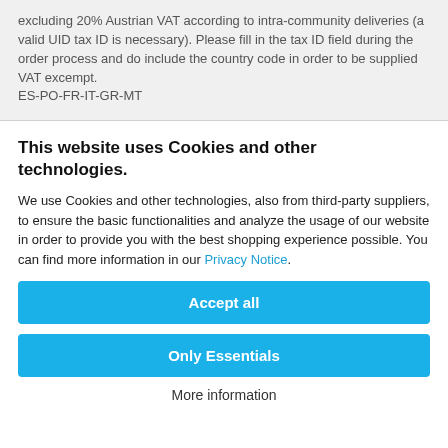excluding 20% Austrian VAT according to intra-community deliveries (a valid UID tax ID is necessary). Please fill in the tax ID field during the order process and do include the country code in order to be supplied VAT excempt.
ES-PO-FR-IT-GR-MT
This website uses Cookies and other technologies.
We use Cookies and other technologies, also from third-party suppliers, to ensure the basic functionalities and analyze the usage of our website in order to provide you with the best shopping experience possible. You can find more information in our Privacy Notice.
Accept all
Only Essentials
More information